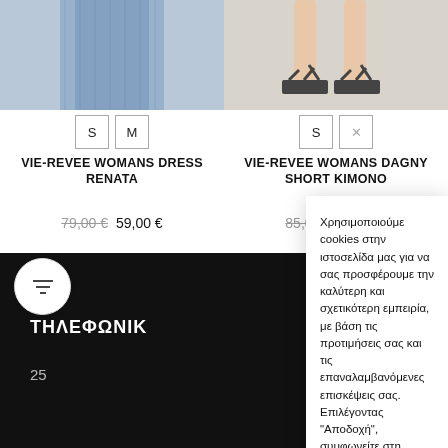[Figure (photo): Product photo of a blue/denim dress (lower portion visible)]
[Figure (photo): Product photo of a woman's feet wearing black strappy sandals]
S  M
S  X
VIE-REVEE WOMANS DRESS RENATA
VIE-REVEE WOMANS DAGNY SHORT KIMONO
79,00 € 59,00 €
85,00 € 60,00 €
[Figure (other): Filter icon (funnel symbol) in a circular button]
Εμμ
ΤΗΛΕΦΩΝΙΚ
25
Χρησιμοποιούμε cookies στην ιστοσελίδα μας για να σας προσφέρουμε την καλύτερη και σχετικότερη εμπειρία, με βάση τις προτιμήσεις σας και τις επαναλαμβανόμενες επισκέψεις σας. Επιλέγοντας "Αποδοχή", συμφωνείτε στη χρήση όλων των cookies.
Απόρριψη
Περισσότερα
ΑΠΟΔΟΧΗ